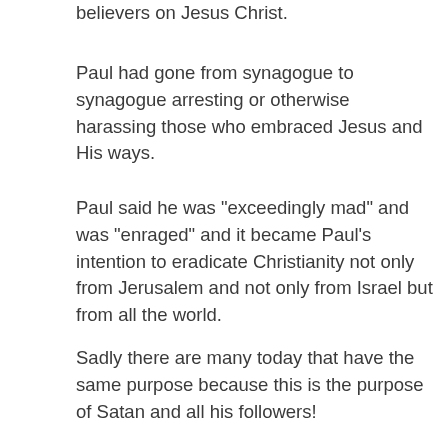believers on Jesus Christ.
Paul had gone from synagogue to synagogue arresting or otherwise harassing those who embraced Jesus and His ways.
Paul said he was "exceedingly mad" and was "enraged" and it became Paul’s intention to eradicate Christianity not only from Jerusalem and not only from Israel but from all the world.
Sadly there are many today that have the same purpose because this is the purpose of Satan and all his followers!
*****Act 26:12  Whereupon as I went to Damascus with authority and commission from the chief priests